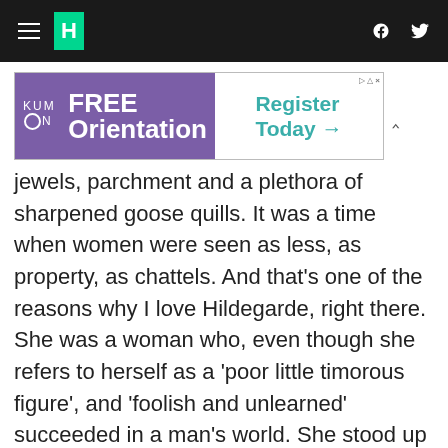HuffPost navigation bar with hamburger menu, logo, Facebook and Twitter icons
[Figure (other): Kumon advertisement banner: FREE Orientation | Register Today →]
jewels, parchment and a plethora of sharpened goose quills. It was a time when women were seen as less, as property, as chattels. And that's one of the reasons why I love Hildegarde, right there. She was a woman who, even though she refers to herself as a 'poor little timorous figure', and 'foolish and unlearned' succeeded in a man's world. She stood up to people--she won, and here I am admiring her for it all these centuries later.
Alice Hoffman is the author of more than twenty-